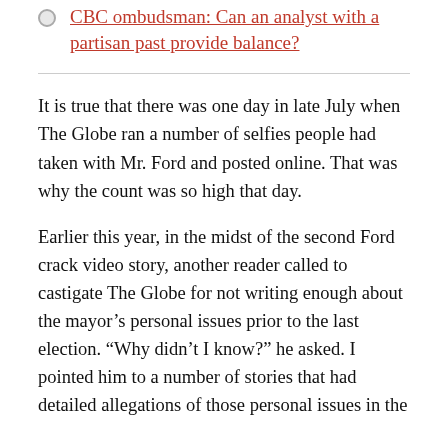CBC ombudsman: Can an analyst with a partisan past provide balance?
It is true that there was one day in late July when The Globe ran a number of selfies people had taken with Mr. Ford and posted online. That was why the count was so high that day.
Earlier this year, in the midst of the second Ford crack video story, another reader called to castigate The Globe for not writing enough about the mayor’s personal issues prior to the last election. “Why didn’t I know?” he asked. I pointed him to a number of stories that had detailed allegations of those personal issues in the